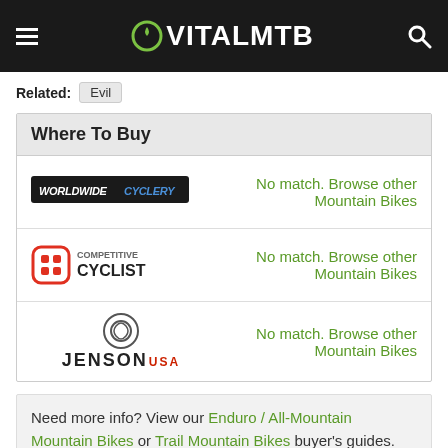VITALMTB
Related: Evil
| Store | Status |
| --- | --- |
| Worldwide Cyclery | No match. Browse other Mountain Bikes |
| Competitive Cyclist | No match. Browse other Mountain Bikes |
| Jenson USA | No match. Browse other Mountain Bikes |
Need more info? View our Enduro / All-Mountain Mountain Bikes or Trail Mountain Bikes buyer's guides.
Reviews | Specs | Write Review
Specifications